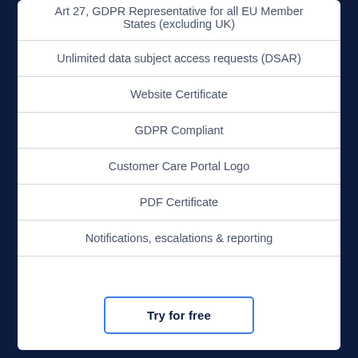Art 27, GDPR Representative for all EU Member States (excluding UK)
Unlimited data subject access requests (DSAR)
Website Certificate
GDPR Compliant
Customer Care Portal Logo
PDF Certificate
Notifications, escalations & reporting
Try for free